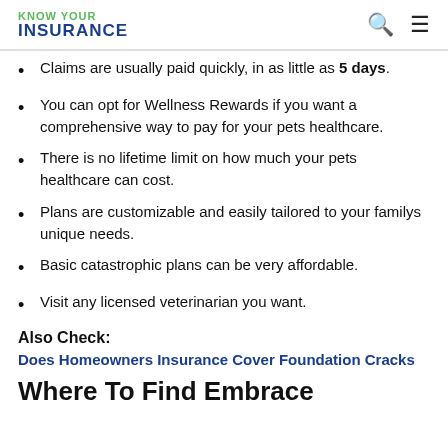KNOW YOUR INSURANCE
Claims are usually paid quickly, in as little as 5 days.
You can opt for Wellness Rewards if you want a comprehensive way to pay for your pets healthcare.
There is no lifetime limit on how much your pets healthcare can cost.
Plans are customizable and easily tailored to your familys unique needs.
Basic catastrophic plans can be very affordable.
Visit any licensed veterinarian you want.
Also Check:
Does Homeowners Insurance Cover Foundation Cracks
Where To Find Embrace